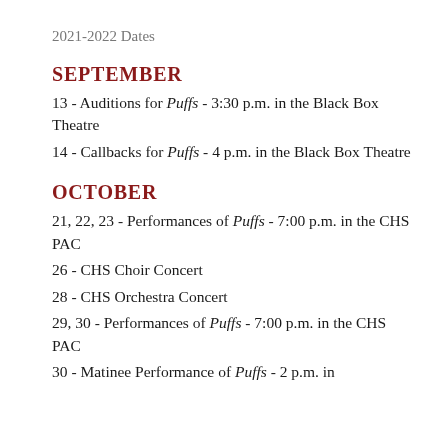2021-2022 Dates
SEPTEMBER
13 - Auditions for Puffs - 3:30 p.m. in the Black Box Theatre
14 - Callbacks for Puffs - 4 p.m. in the Black Box Theatre
OCTOBER
21, 22, 23  - Performances of Puffs - 7:00 p.m. in the CHS PAC
26 - CHS Choir Concert
28 - CHS Orchestra Concert
29, 30 - Performances of Puffs - 7:00 p.m. in the CHS PAC
30 - Matinee Performance of Puffs - 2 p.m. in